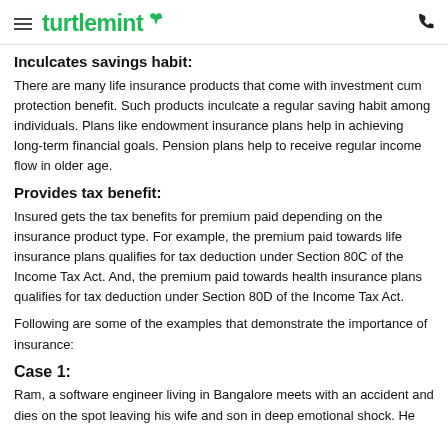turtlemint
Inculcates savings habit:
There are many life insurance products that come with investment cum protection benefit. Such products inculcate a regular saving habit among individuals. Plans like endowment insurance plans help in achieving long-term financial goals. Pension plans help to receive regular income flow in older age.
Provides tax benefit:
Insured gets the tax benefits for premium paid depending on the insurance product type. For example, the premium paid towards life insurance plans qualifies for tax deduction under Section 80C of the Income Tax Act. And, the premium paid towards health insurance plans qualifies for tax deduction under Section 80D of the Income Tax Act.
Following are some of the examples that demonstrate the importance of insurance:
Case 1:
Ram, a software engineer living in Bangalore meets with an accident and dies on the spot leaving his wife and son in deep emotional shock. He